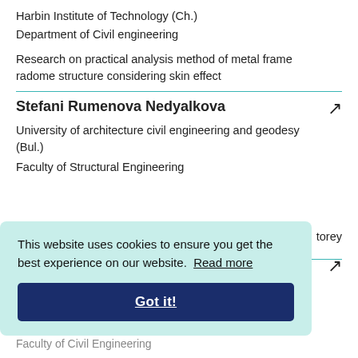Harbin Institute of Technology (Ch.)
Department of Civil engineering
Research on practical analysis method of metal frame radome structure considering skin effect
Stefani Rumenova Nedyalkova
University of architecture civil engineering and geodesy (Bul.)
Faculty of Structural Engineering
torey
Faculty of Civil Engineering
This website uses cookies to ensure you get the best experience on our website. Read more
Got it!